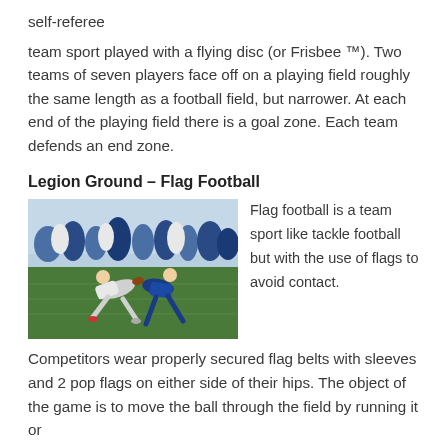self-referee
team sport played with a flying disc (or Frisbee ™). Two teams of seven players face off on a playing field roughly the same length as a football field, but narrower. At each end of the playing field there is a goal zone. Each team defends an end zone.
Legion Ground – Flag Football
[Figure (photo): Photograph of flag football players on a field, with players in blue and white uniforms, a crowd of spectators in the background, and green turf.]
Flag football is a team sport like tackle football but with the use of flags to avoid contact. Competitors wear properly secured flag belts with sleeves and 2 pop flags on either side of their hips. The object of the game is to move the ball through the field by running it or
the game is to move the ball through the field by running it or